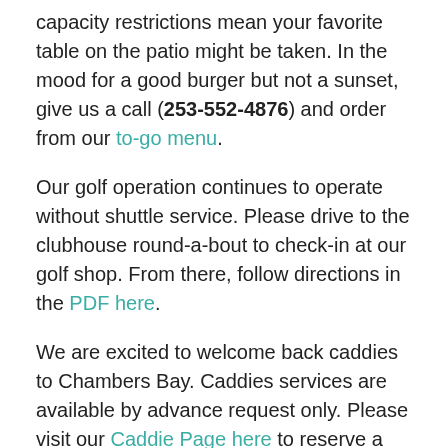capacity restrictions mean your favorite table on the patio might be taken. In the mood for a good burger but not a sunset, give us a call (253-552-4876) and order from our to-go menu.
Our golf operation continues to operate without shuttle service. Please drive to the clubhouse round-a-bout to check-in at our golf shop. From there, follow directions in the PDF here.
We are excited to welcome back caddies to Chambers Bay. Caddies services are available by advance request only. Please visit our Caddie Page here to reserve a caddie and for information about how we are working to keep you and our caddies safe.